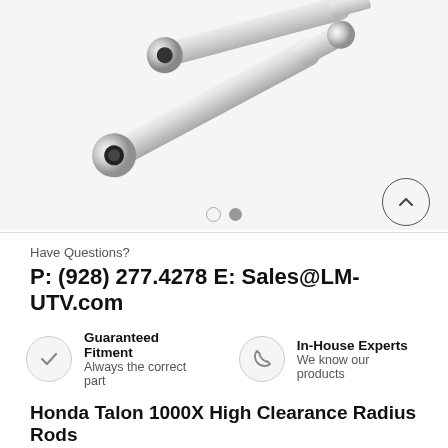[Figure (photo): Close-up photo of chrome/silver Honda Talon 1000X high clearance radius rods (tie rods/suspension links) on a white background, showing ball joint ends and rod bodies]
Have Questions?
P: (928) 277.4278 E: Sales@LM-UTV.com
Guaranteed Fitment
Always the correct part
In-House Experts
We know our products
Honda Talon 1000X High Clearance Radius Rods